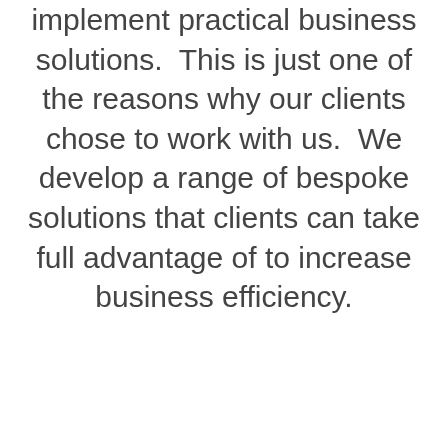implement practical business solutions.  This is just one of the reasons why our clients chose to work with us.  We develop a range of bespoke solutions that clients can take full advantage of to increase business efficiency.